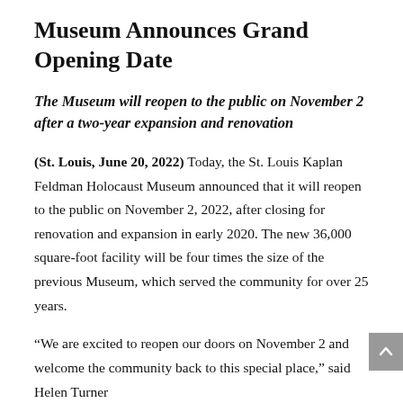Museum Announces Grand Opening Date
The Museum will reopen to the public on November 2 after a two-year expansion and renovation
(St. Louis, June 20, 2022) Today, the St. Louis Kaplan Feldman Holocaust Museum announced that it will reopen to the public on November 2, 2022, after closing for renovation and expansion in early 2020. The new 36,000 square-foot facility will be four times the size of the previous Museum, which served the community for over 25 years.
“We are excited to reopen our doors on November 2 and welcome the community back to this special place,” said Helen Turner